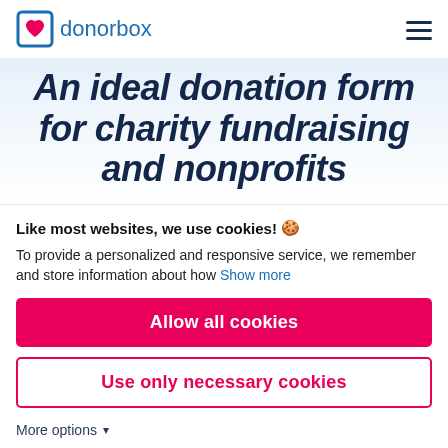donorbox
An ideal donation form for charity fundraising and nonprofits
Like most websites, we use cookies! 🍪
To provide a personalized and responsive service, we remember and store information about how Show more
Allow all cookies
Use only necessary cookies
More options ▾